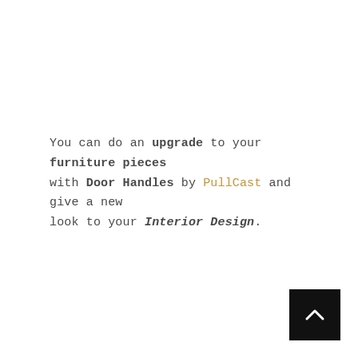You can do an upgrade to your furniture pieces with Door Handles by PullCast and give a new look to your Interior Design.
[Figure (other): Back-to-top navigation button: black square with a white upward-pointing chevron arrow]